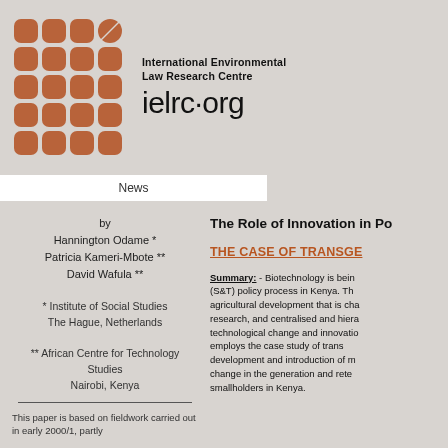[Figure (logo): IELRC logo: grid of brown/terracotta leaf-shaped squares, 4x4 grid with last item being a leaf shape]
International Environmental Law Research Centre
ielrc.org
News
The Role of Innovation in Po...
THE CASE OF TRANSGE...
by
Hannington Odame *
Patricia Kameri-Mbote **
David Wafula **
* Institute of Social Studies
The Hague, Netherlands

** African Centre for Technology Studies
Nairobi, Kenya
This paper is based on fieldwork carried out in early 2000/1, partly
Summary: - Biotechnology is being... (S&T) policy process in Kenya. Th... agricultural development that is cha... research, and centralised and hiera... technological change and innovatio... employs the case study of trans... development and introduction of m... change in the generation and rete... smallholders in Kenya.